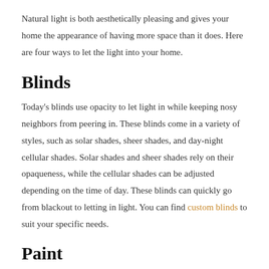Natural light is both aesthetically pleasing and gives your home the appearance of having more space than it does. Here are four ways to let the light into your home.
Blinds
Today's blinds use opacity to let light in while keeping nosy neighbors from peering in. These blinds come in a variety of styles, such as solar shades, sheer shades, and day-night cellular shades. Solar shades and sheer shades rely on their opaqueness, while the cellular shades can be adjusted depending on the time of day. These blinds can quickly go from blackout to letting in light. You can find custom blinds to suit your specific needs.
Paint